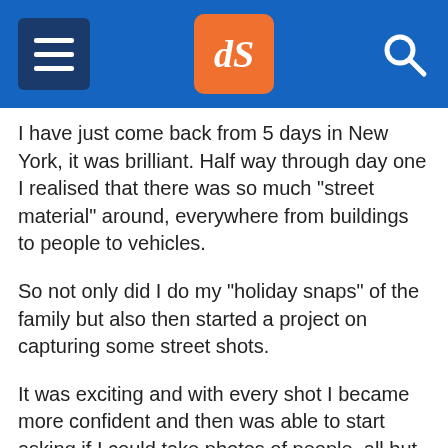dPS navigation header
I have just come back from 5 days in New York, it was brilliant. Half way through day one I realised that there was so much "street material" around, everywhere from buildings to people to vehicles.
So not only did I do my "holiday snaps" of the family but also then started a project on capturing some street shots.
It was exciting and with every shot I became more confident and then was able to start asking if I could take photos of people, all but one said yes.
I also realised it was making me look at scenes in a different way, which led me to a direction within the project, meaning I was able to hunt down and focus on the look I was after. I'm currently post-processing the images with the aim of producing a coffee table photo book, which I will share with the wider